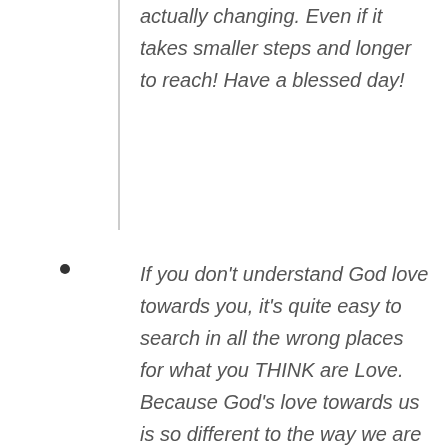actually changing. Even if it takes smaller steps and longer to reach! Have a blessed day!
If you don't understand God love towards you, it's quite easy to search in all the wrong places for what you THINK are Love. Because God's love towards us is so different to the way we are capable of loving, I've noticed that it's difficult for us to accept that we can be loved unconditionally loved. Don't try to understand God's love, just accept it and love him in the deepest way you know how to. Happy 55th birthday dear mother,